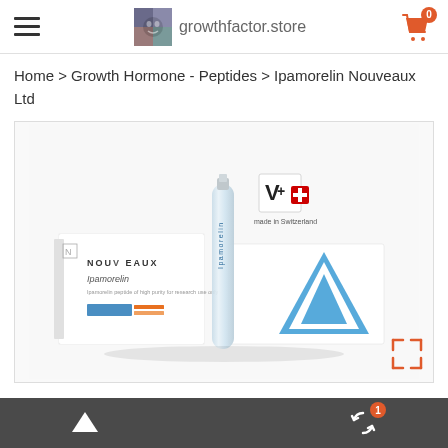growthfactor.store
Home > Growth Hormone - Peptides > Ipamorelin Nouveaux Ltd
[Figure (photo): Product photo of Ipamorelin Nouveaux Ltd — a glass ampoule vial with 'Ipamorelin' label and two white/blue pharmaceutical boxes labeled 'NOUVEAUX Ipamorelin'. A V+ logo with Swiss cross and 'made in Switzerland' text appears in the background.]
Navigation footer with up arrow and refresh/cart icon with badge 1